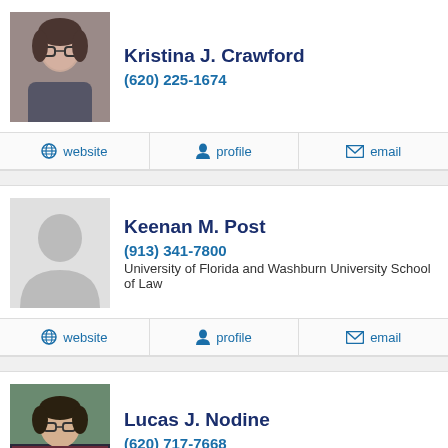Kristina J. Crawford
(620) 225-1674
website | profile | email
Keenan M. Post
(913) 341-7800
University of Florida and Washburn University School of Law
website | profile | email
Lucas J. Nodine
(620) 717-7668
Washburn University